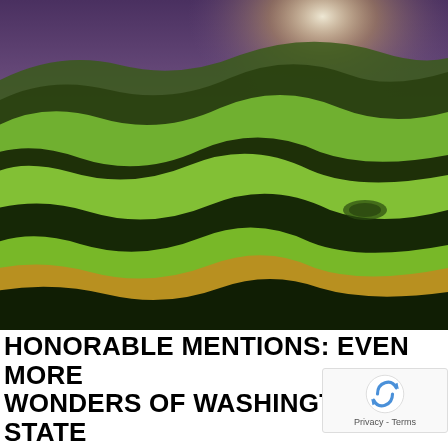[Figure (photo): Aerial/wide-angle landscape photo of rolling green hills with dramatic purple-tinted sky at dusk. The hills have undulating smooth curves with alternating bright green and shadowed dark areas creating a wave-like pattern. Some golden-yellow tones in the lower foreground. Likely the Palouse region of Washington State.]
HONORABLE MENTIONS: EVEN MORE WONDERS OF WASHINGTON STATE
Done with the seven wonders? Add these five other beauty spots to your list